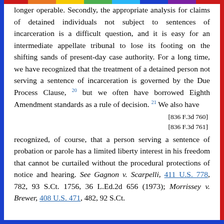longer operable. Secondly, the appropriate analysis for claims of detained individuals not subject to sentences of incarceration is a difficult question, and it is easy for an intermediate appellate tribunal to lose its footing on the shifting sands of present-day case authority. For a long time, we have recognized that the treatment of a detained person not serving a sentence of incarceration is governed by the Due Process Clause, 20 but we often have borrowed Eighth Amendment standards as a rule of decision. 21 We also have
[836 F.3d 760]
[836 F.3d 761]
recognized, of course, that a person serving a sentence of probation or parole has a limited liberty interest in his freedom that cannot be curtailed without the procedural protections of notice and hearing. See Gagnon v. Scarpelli, 411 U.S. 778, 782, 93 S.Ct. 1756, 36 L.Ed.2d 656 (1973); Morrissey v. Brewer, 408 U.S. 471, 482, 92 S.Ct.